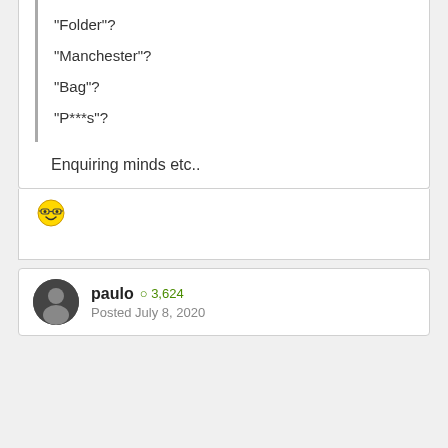"Folder"?
"Manchester"?
"Bag"?
"P***s"?
Enquiring minds etc..
[Figure (other): Yellow smiley face emoji with glasses]
paulo  O 3,624
Posted July 8, 2020